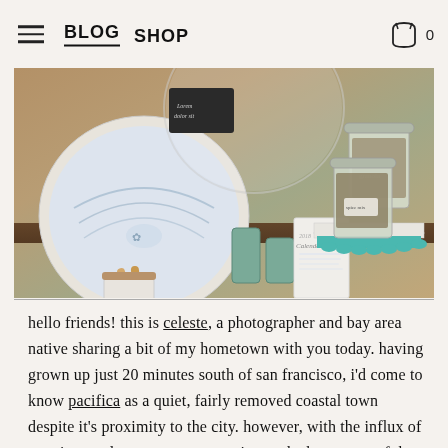BLOG  SHOP  0
[Figure (photo): Retail shop display with ceramic bowls, glass jars filled with granola/spices, teal candles, a white cake stand with teal scalloped base, wooden accents, and a 2018 Calendar card]
hello friends! this is celeste, a photographer and bay area native sharing a bit of my hometown with you today. having grown up just 20 minutes south of san francisco, i'd come to know pacifica as a quiet, fairly removed coastal town despite it's proximity to the city. however, with the influx of creatives and entrepreneurs moving to the bay, some of that modern